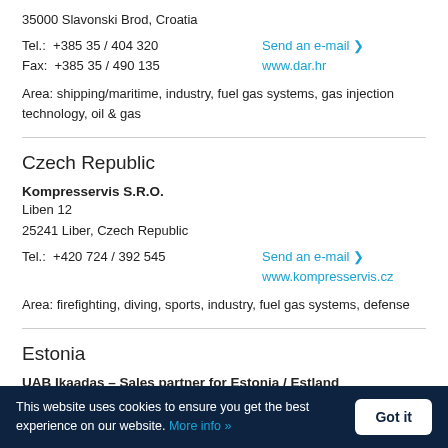35000 Slavonski Brod, Croatia
Tel.:  +385 35 / 404 320
Fax:  +385 35 / 490 135
Send an e-mail ❯
www.dar.hr
Area: shipping/maritime, industry, fuel gas systems, gas injection technology, oil & gas
Czech Republic
Kompresservis S.R.O.
Liben 12
25241 Liber, Czech Republic
Tel.:  +420 724 / 392 545
Send an e-mail ❯
www.kompresservis.cz
Area: firefighting, diving, sports, industry, fuel gas systems, defense
Estonia
UAB Ikaadas – Sales partner for Estonia / Estland
This website uses cookies to ensure you get the best experience on our website. More info »